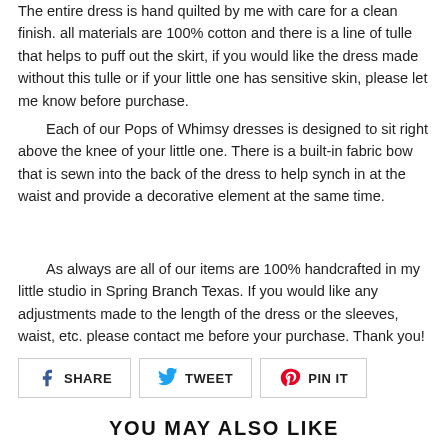The entire dress is hand quilted by me with care for a clean finish. all materials are 100% cotton and there is a line of tulle that helps to puff out the skirt, if you would like the dress made without this tulle or if your little one has sensitive skin, please let me know before purchase.
Each of our Pops of Whimsy dresses is designed to sit right above the knee of your little one. There is a built-in fabric bow that is sewn into the back of the dress to help synch in at the waist and provide a decorative element at the same time.
As always are all of our items are 100% handcrafted in my little studio in Spring Branch Texas. If you would like any adjustments made to the length of the dress or the sleeves, waist, etc. please contact me before your purchase. Thank you!
[Figure (other): Social share buttons: SHARE (Facebook), TWEET (Twitter), PIN IT (Pinterest)]
YOU MAY ALSO LIKE